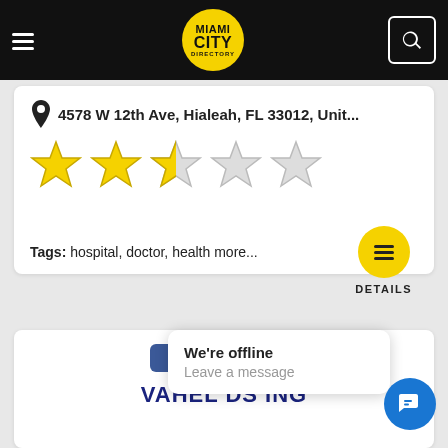Miami City Directory
4578 W 12th Ave, Hialeah, FL 33012, Unit...
[Figure (illustration): Star rating display: 2.5 out of 5 stars (3 filled/half-filled yellow stars, 2 empty grey stars)]
[Figure (illustration): Yellow circular Details button with hamburger menu icon, labeled DETAILS]
Tags: hospital, doctor, health more...
[Figure (illustration): Blue Facebook-style bar, partial view of next listing card with title starting VAHEL DS ING]
We're offline
Leave a message
[Figure (illustration): Blue circular chat button with speech bubble icon]